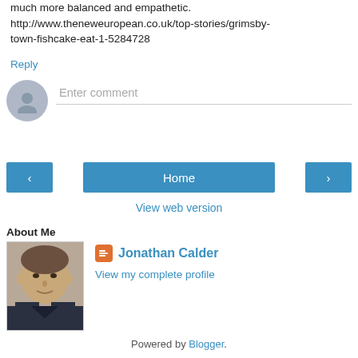much more balanced and empathetic. http://www.theneweuropean.co.uk/top-stories/grimsby-town-fishcake-eat-1-5284728
Reply
Enter comment
Home
View web version
About Me
Jonathan Calder
View my complete profile
Powered by Blogger.